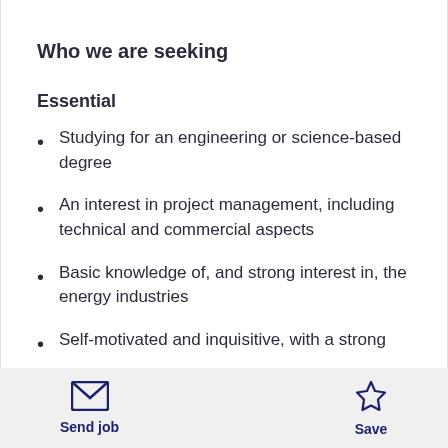Who we are seeking
Essential
Studying for an engineering or science-based degree
An interest in project management, including technical and commercial aspects
Basic knowledge of, and strong interest in, the energy industries
Self-motivated and inquisitive, with a strong
Send job   Save